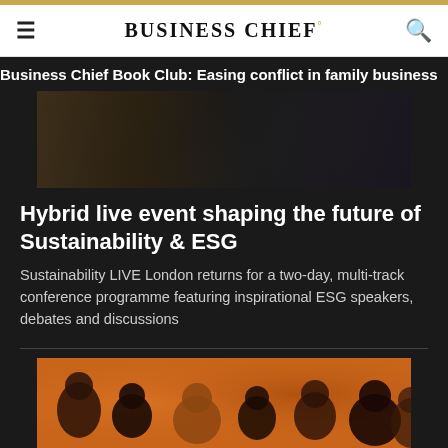BUSINESS CHIEF°
Business Chief Book Club: Easing conflict in family business
[Figure (photo): Dark image showing partial view of people/event, dimly lit]
Hybrid live event shaping the future of Sustainability & ESG
Sustainability LIVE London returns for a two-day, multi-track conference programme featuring inspirational ESG speakers, debates and discussions
[Figure (photo): Group of people posed against an orange background for a conference or event promotion]